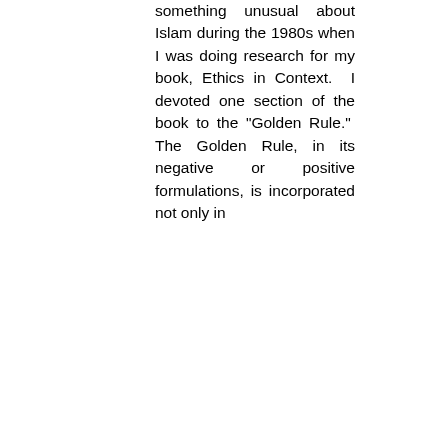something unusual about Islam during the 1980s when I was doing research for my book, Ethics in Context. I devoted one section of the book to the "Golden Rule." The Golden Rule, in its negative or positive formulations, is incorporated not only in